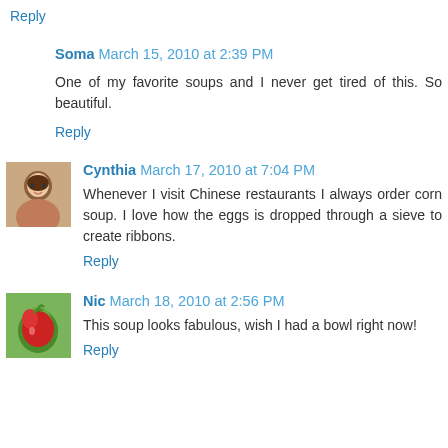Reply
Soma March 15, 2010 at 2:39 PM
One of my favorite soups and I never get tired of this. So beautiful.
Reply
Cynthia March 17, 2010 at 7:04 PM
Whenever I visit Chinese restaurants I always order corn soup. I love how the eggs is dropped through a sieve to create ribbons.
Reply
Nic March 18, 2010 at 2:56 PM
This soup looks fabulous, wish I had a bowl right now!
Reply